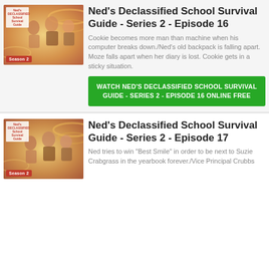[Figure (photo): Thumbnail for Ned's Declassified School Survival Guide Season 2 showing kids around a table with Season 2 badge]
Ned's Declassified School Survival Guide - Series 2 - Episode 16
Cookie becomes more man than machine when his computer breaks down./Ned's old backpack is falling apart. Moze falls apart when her diary is lost. Cookie gets in a sticky situation.
WATCH NED'S DECLASSIFIED SCHOOL SURVIVAL GUIDE - SERIES 2 - EPISODE 16 ONLINE FREE
[Figure (photo): Thumbnail for Ned's Declassified School Survival Guide Season 2 showing kids with Season 2 badge]
Ned's Declassified School Survival Guide - Series 2 - Episode 17
Ned tries to win "Best Smile" in order to be next to Suzie Crabgrass in the yearbook forever./Vice Principal Crubbs